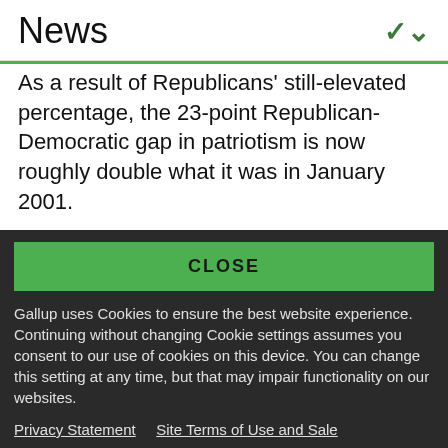News
As a result of Republicans' still-elevated percentage, the 23-point Republican-Democratic gap in patriotism is now roughly double what it was in January 2001.
CLOSE
Gallup uses Cookies to ensure the best website experience. Continuing without changing Cookie settings assumes you consent to our use of cookies on this device. You can change this setting at any time, but that may impair functionality on our websites.
Privacy Statement   Site Terms of Use and Sale
Product Terms of Use   Adjust your cookie settings.